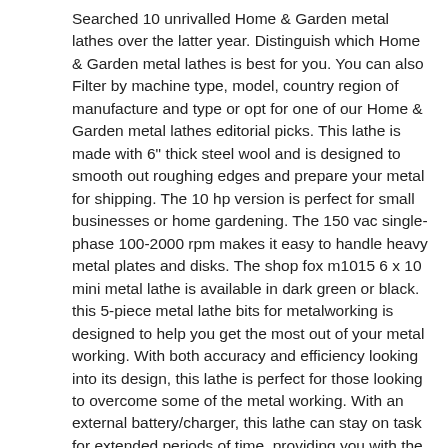Searched 10 unrivalled Home & Garden metal lathes over the latter year. Distinguish which Home & Garden metal lathes is best for you. You can also Filter by machine type, model, country region of manufacture and type or opt for one of our Home & Garden metal lathes editorial picks. This lathe is made with 6" thick steel wool and is designed to smooth out roughing edges and prepare your metal for shipping. The 10 hp version is perfect for small businesses or home gardening. The 150 vac single-phase 100-2000 rpm makes it easy to handle heavy metal plates and disks. The shop fox m1015 6 x 10 mini metal lathe is available in dark green or black. this 5-piece metal lathe bits for metalworking is designed to help you get the most out of your metal working. With both accuracy and efficiency looking into its design, this lathe is perfect for those looking to overcome some of the metal working. With an external battery/charger, this lathe can stay on task for extended periods of time, providing you with the power you need to get the most out of your metal working. the home & garden metal lathes are perfect for turning tools and machinery. With twox8mm shank live bearing tailstock center for metal wood lathe turning tool, you